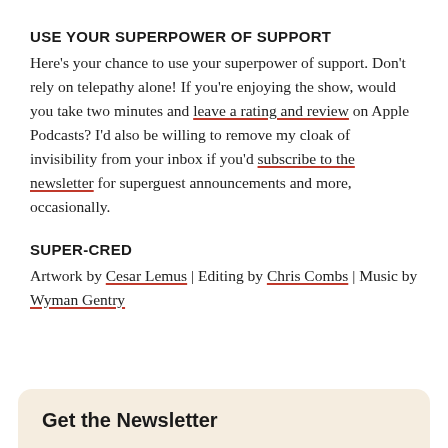USE YOUR SUPERPOWER OF SUPPORT
Here's your chance to use your superpower of support. Don't rely on telepathy alone! If you're enjoying the show, would you take two minutes and leave a rating and review on Apple Podcasts? I'd also be willing to remove my cloak of invisibility from your inbox if you'd subscribe to the newsletter for superguest announcements and more, occasionally.
SUPER-CRED
Artwork by Cesar Lemus | Editing by Chris Combs | Music by Wyman Gentry
Get the Newsletter